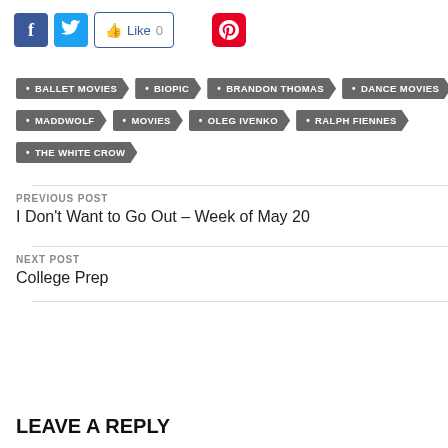[Figure (other): Social sharing buttons: Facebook (blue), Twitter (cyan), Like 0 button, Pinterest (red)]
BALLET MOVIES
BIOPIC
BRANDON THOMAS
DANCE MOVIES
MADDWOLF
MOVIES
OLEG IVENKO
RALPH FIENNES
THE WHITE CROW
PREVIOUS POST
I Don't Want to Go Out – Week of May 20
NEXT POST
College Prep
LEAVE A REPLY